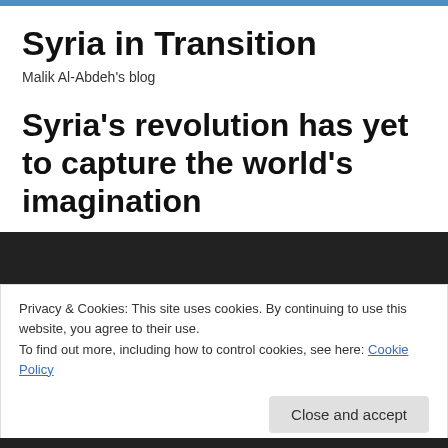Syria in Transition
Malik Al-Abdeh's blog
Syria's revolution has yet to capture the world's imagination
Privacy & Cookies: This site uses cookies. By continuing to use this website, you agree to their use.
To find out more, including how to control cookies, see here: Cookie Policy
Close and accept